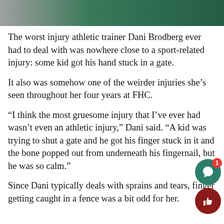[Figure (photo): Partial photo strip at top of page showing a person in a dark green outfit, cropped to show only the lower portion of the image.]
The worst injury athletic trainer Dani Brodberg ever had to deal with was nowhere close to a sport-related injury: some kid got his hand stuck in a gate.
It also was somehow one of the weirder injuries she’s seen throughout her four years at FHC.
“I think the most gruesome injury that I’ve ever had wasn’t even an athletic injury,” Dani said. “A kid was trying to shut a gate and he got his finger stuck in it and the bone popped out from underneath his fingernail, but he was so calm.”
Since Dani typically deals with sprains and tears, finger getting caught in a fence was a bit odd for her.